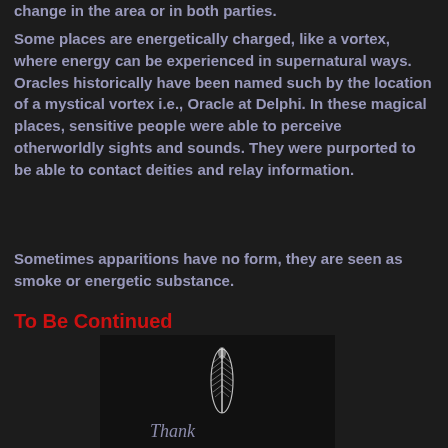change in the area or in both parties.
Some places are energetically charged, like a vortex, where energy can be experienced in supernatural ways. Oracles historically have been named such by the location of a mystical vortex i.e., Oracle at Delphi. In these magical places, sensitive people were able to perceive otherworldly sights and sounds. They were purported to be able to contact deities and relay information.
Sometimes apparitions have no form, they are seen as smoke or energetic substance.
To Be Continued
[Figure (illustration): A white feather quill illustration on dark background with a cursive signature below reading 'Thank' or similar stylized text]